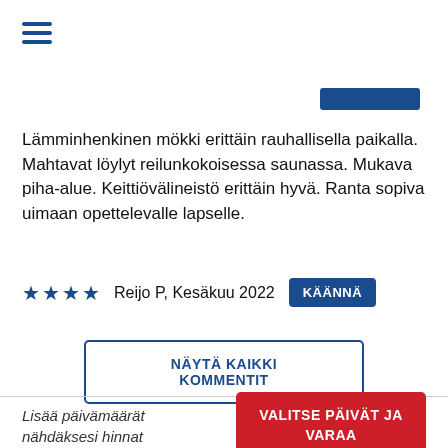[Figure (other): Hamburger menu icon (three horizontal blue lines)]
[Figure (other): Blue horizontal bar/button element in upper right area]
Lämminhenkinen mökki erittäin rauhallisella paikalla. Mahtavat löylyt reilunkokoisessa saunassa. Mukava piha-alue. Keittiövälineistö erittäin hyvä. Ranta sopiva uimaan opettelevalle lapselle.
★★★★   Reijo P, Kesäkuu 2022   KÄÄNNÄ
NÄYTÄ KAIKKI KOMMENTIT
Lisää päivämäärät nähdäksesi hinnat
VALITSE PÄIVÄT JA VARAA